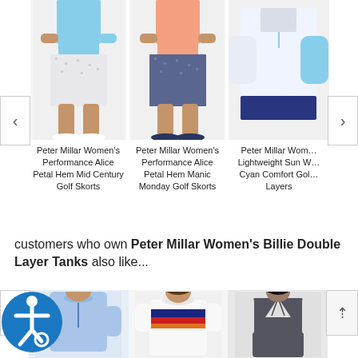[Figure (screenshot): E-commerce product carousel showing three Peter Millar women's golf apparel items with navigation arrows on left and right]
Peter Millar Women's Performance Alice Petal Hem Mid Century Golf Skorts
Peter Millar Women's Performance Alice Petal Hem Manic Monday Golf Skorts
Peter Millar Women's Lightweight Sun W Cyan Comfort Golf Layers
customers who own Peter Millar Women's Billie Double Layer Tanks also like...
[Figure (screenshot): Bottom product carousel showing three clothing items: a light blue zip-up top, a striped sweater, and a grey vest/top, with accessibility icon and scroll-up button]